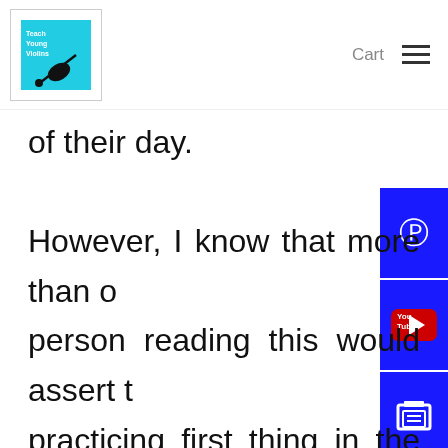Cart
of their day.
However, I know that more than one person reading this would assert that practicing first thing in the morning would be the kiss of death for their child or student because it would lead to negative power struggles as the child works against their delicate